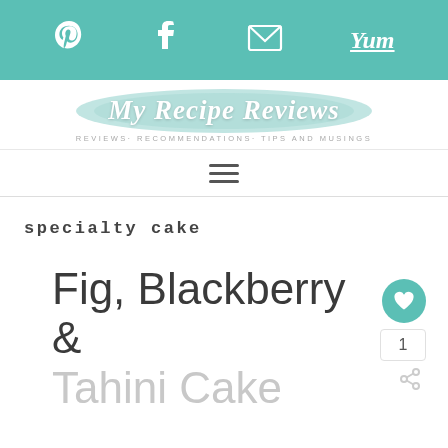My Recipe Reviews - REVIEWS· RECOMMENDATIONS· TIPS AND MUSINGS
specialty cake
Fig, Blackberry & Tahini Cake